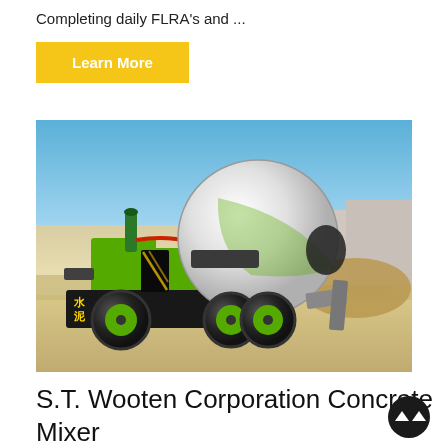Completing daily FLRA's and ...
Learn More
[Figure (photo): A green and white self-loading concrete mixer truck parked on a sandy construction site, with blue sky and industrial buildings in the background.]
S.T. Wooten Corporation Concrete Mixer Truck Driver (CDL